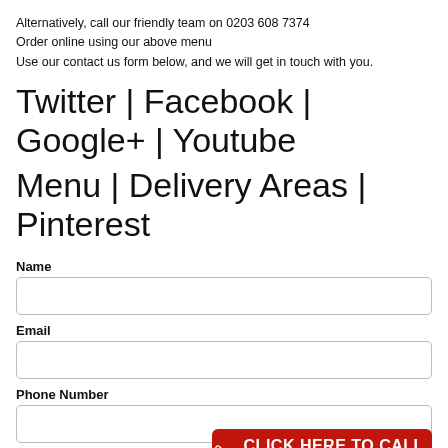Alternatively, call our friendly team on 0203 608 7374
Order online using our above menu
Use our contact us form below, and we will get in touch with you.
Twitter | Facebook | Google+ | Youtube
Menu | Delivery Areas | Pinterest
Name
Email
Phone Number
CLICK HERE TO CALL US
Message